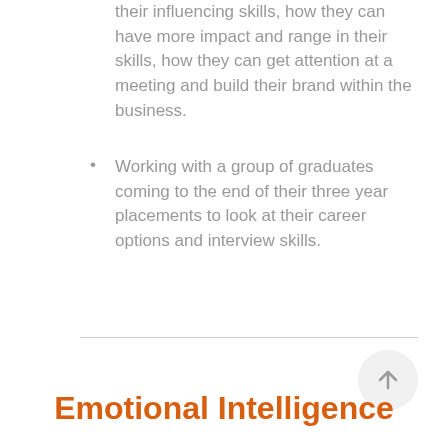their influencing skills, how they can have more impact and range in their skills, how they can get attention at a meeting and build their brand within the business.
Working with a group of graduates coming to the end of their three year placements to look at their career options and interview skills.
Emotional Intelligence